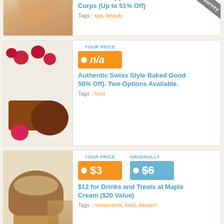[Figure (screenshot): Deal listing page showing three coupon/deal cards: Aromatherapy Facial deal (n/a price, spa/beauty tags), Authentic Swiss Style Baked Goods deal (n/a price, food tag), and $12 Drinks and Treats at Maple Cream deal ($3 price, originally $6, restaurants/food/dessert tags). A 'Take our Survey' ribbon overlay appears in the top-right corner.]